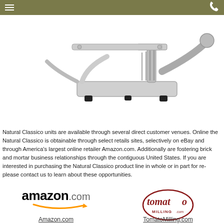[Figure (photo): A commercial tomato/food slicer machine, metallic silver, shown at an angle against white background]
Natural Classico units are available through several direct customer venues. Online the Natural Classico is obtainable through select retails sites, selectively on eBay and through America's largest online retailer Amazon.com. Additionally are fostering brick and mortar business relationships through the contiguous United States. If you are interested in purchasing the Natural Classico product line in whole or in part for re-please contact us to learn about these opportunities.
[Figure (logo): Amazon.com logo with orange smile arrow]
[Figure (logo): Tomato Milling .com logo in dark red circle]
Amazon.com
TomatoMilling.com